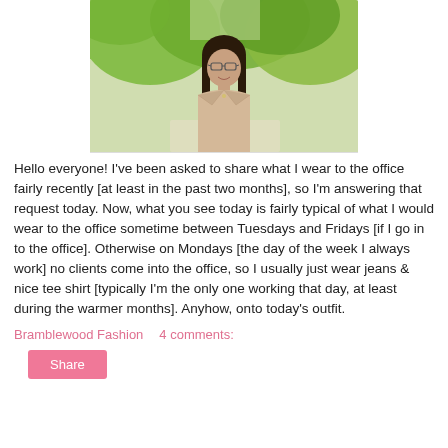[Figure (photo): Young woman with long dark hair and glasses, wearing a beige blazer over a striped top, standing outdoors among green trees.]
Hello everyone! I've been asked to share what I wear to the office fairly recently [at least in the past two months], so I'm answering that request today. Now, what you see today is fairly typical of what I would wear to the office sometime between Tuesdays and Fridays [if I go in to the office]. Otherwise on Mondays [the day of the week I always work] no clients come into the office, so I usually just wear jeans & nice tee shirt [typically I'm the only one working that day, at least during the warmer months]. Anyhow, onto today's outfit.
Bramblewood Fashion    4 comments: